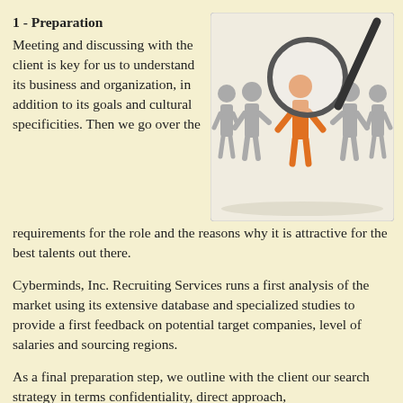1 - Preparation
Meeting and discussing with the client is key for us to understand its business and organization, in addition to its goals and cultural specificities. Then we go over the requirements for the role and the reasons why it is attractive for the best talents out there.
[Figure (illustration): Illustration of a row of grey human figures holding hands, with one orange figure in the center being highlighted by a magnifying glass, representing talent selection or recruitment.]
Cyberminds, Inc. Recruiting Services runs a first analysis of the market using its extensive database and specialized studies to provide a first feedback on potential target companies, level of salaries and sourcing regions.
As a final preparation step, we outline with the client our search strategy in terms confidentiality, direct approach,